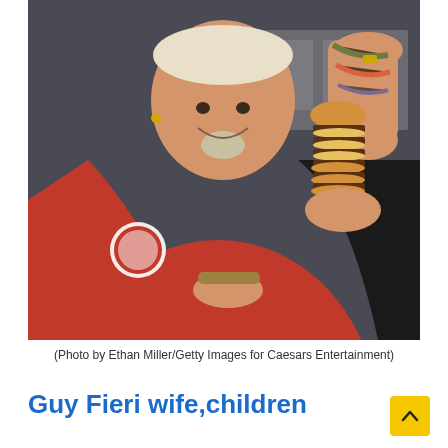[Figure (photo): Guy Fieri in a red and black chef's jacket holding a tall stack of cheeseburgers balanced on one hand, smiling in a kitchen setting. He has tattoos visible on his arm and wears bracelets and rings.]
(Photo by Ethan Miller/Getty Images for Caesars Entertainment)
Guy Fieri wife, children